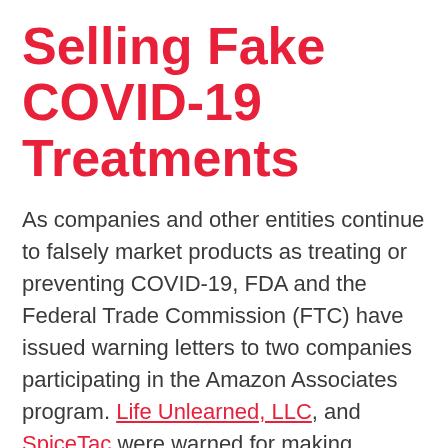Selling Fake COVID-19 Treatments
As companies and other entities continue to falsely market products as treating or preventing COVID-19, FDA and the Federal Trade Commission (FTC) have issued warning letters to two companies participating in the Amazon Associates program. Life Unlearned, LLC, and SpiceTac were warned for making misleading claims that the products can mitigate, prevent, treat, diagnose, or cure COVID-19.
In the warning letters, FDA and FTC notified the companies that they have been added to a published list of websites that have received warning letters concerning the sale or distribution of COVID-19 related products in violation of the Federal Food,